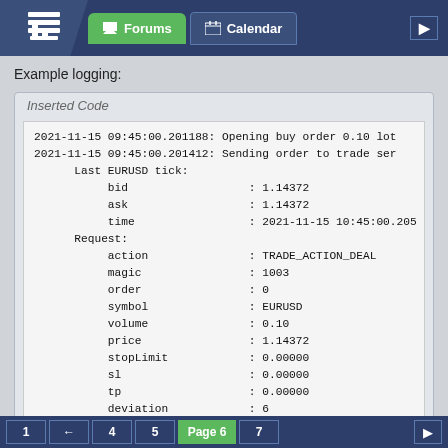Forums | Calendar
Example logging:
Inserted Code
2021-11-15 09:45:00.201188: Opening buy order 0.10 lot
2021-11-15 09:45:00.201412: Sending order to trade ser
      Last EURUSD tick:
           bid                  : 1.14372
           ask                  : 1.14372
           time                 : 2021-11-15 10:45:00.205
      Request:
           action               : TRADE_ACTION_DEAL
           magic                : 1003
           order                : 0
           symbol               : EURUSD
           volume               : 0.10
           price                : 1.14372
           stopLimit            : 0.00000
           sl                   : 0.00000
           tp                   : 0.00000
           deviation            : 6
           type                 : ORDER_TYPE_BUY
1 ← 4 5 Page 6 7